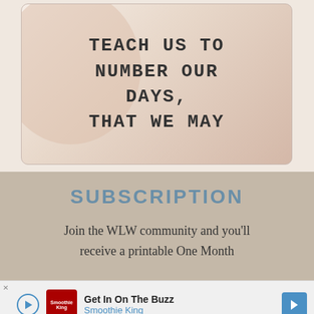[Figure (illustration): An image card with a warm beige/peach background showing the text 'TEACH US TO NUMBER OUR DAYS, THAT WE MAY' in a bold monospaced uppercase font, with a circular blob shape in the upper-left corner]
SUBSCRIPTION
Join the WLW community and you'll receive a printable One Month
[Figure (infographic): Advertisement bar at the bottom: Play button, Smoothie King logo, text 'Get In On The Buzz' and 'Smoothie King', and a blue arrow button on the right]